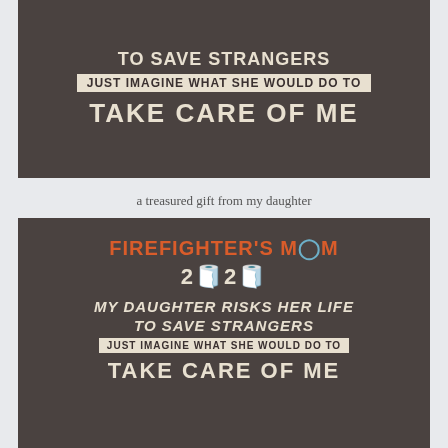[Figure (photo): Close-up of the back of a dark grey t-shirt showing text: 'TO SAVE STRANGERS / JUST IMAGINE WHAT SHE WOULD DO TO / TAKE CARE OF ME']
a treasured gift from my daughter
[Figure (photo): Photo of the full back of a dark grey t-shirt reading: FIREFIGHTER'S MOM / 2020 (with toilet paper rolls) / MY DAUGHTER RISKS HER LIFE TO SAVE STRANGERS / JUST IMAGINE WHAT SHE WOULD DO TO / TAKE CARE OF ME]